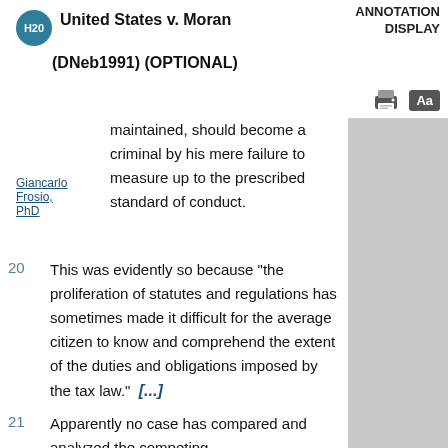United States v. Moran (DNeb1991) (OPTIONAL)
ANNOTATION DISPLAY
Giancarlo Frosio, PhD
maintained, should become a criminal by his mere failure to measure up to the prescribed standard of conduct.
20  This was evidently so because "the proliferation of statutes and regulations has sometimes made it difficult for the average citizen to know and comprehend the extent of the duties and obligations imposed by the tax law." [...]
21  Apparently no case has compared and analyzed the competing